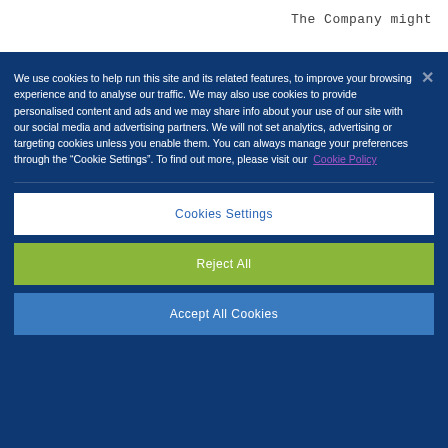The Company might
We use cookies to help run this site and its related features, to improve your browsing experience and to analyse our traffic. We may also use cookies to provide personalised content and ads and we may share info about your use of our site with our social media and advertising partners. We will not set analytics, advertising or targeting cookies unless you enable them. You can always manage your preferences through the "Cookie Settings". To find out more, please visit our Cookie Policy